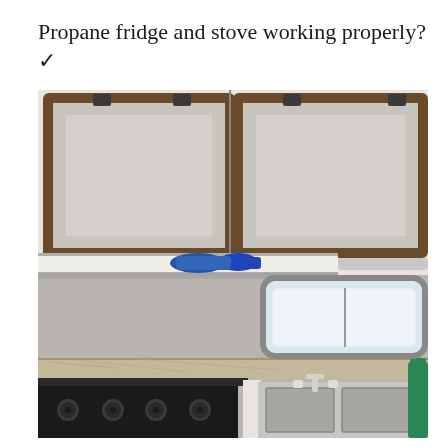Propane fridge and stove working properly? ✓
[Figure (photo): Interior photo of an RV/camper showing upper wooden-framed cabinet doors (brown wood trim on white background), a shelf below with blue items (rope/tool), and lower kitchen area with a stove (black burner knobs visible on left), a granite-patterned countertop, a double stainless steel sink with faucet, a window with rounded corners showing light outside, and white walls throughout.]